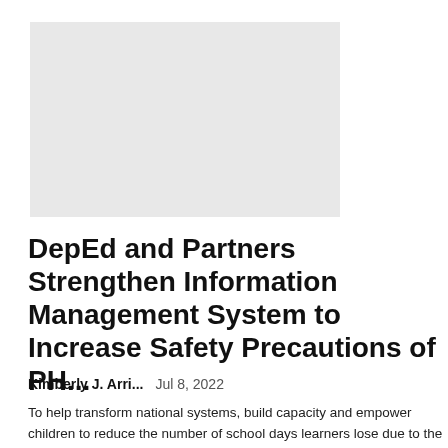[Figure (photo): Placeholder image, light gray rectangle]
DepEd and Partners Strengthen Information Management System to Increase Safety Precautions of PH...
Kimberly J. Arri...   Jul 8, 2022
To help transform national systems, build capacity and empower children to reduce the number of school days learners lose due to the impact of hazardous events, the Department of Education (DepEd) launched the Disaster Risk Reduction and...